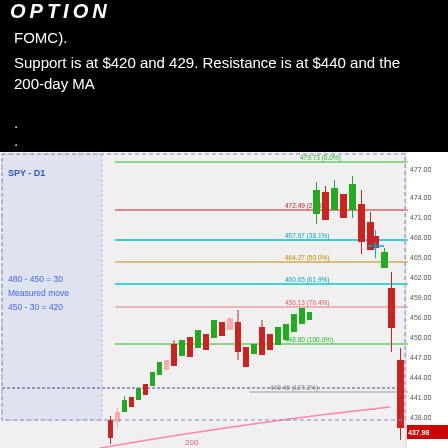OPTION
FOMC).
Support is at $420 and 429. Resistance is at $440 and the 200-day MA
.
.
[Figure (continuous-plot): SPY D1 candlestick chart with Fibonacci retracement levels. Shows price action with green and red candles. Key Fibonacci levels labeled: 479.73 (0.0%), 472.49 (23.6%), 467.97 (38.1%), 464.27 (50.0%), 460.65 (61.9%), 456.13 (76.4%), 448.80 (100.0%), 440.46 (127.2%). Left panel shows blue box with text: 480 - 450 = 30 / Measured move / 450 - 30 = 420. Bottom label shows 200 MA line in pink. Price axis on right shows range from ~435 to 477. Current price shown as 437.98.]